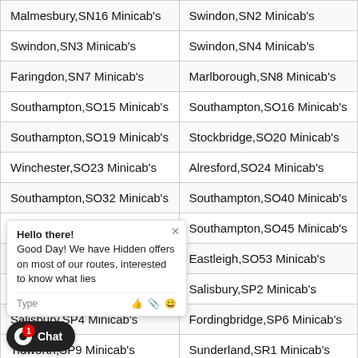| Malmesbury,SN16 Minicab's | Swindon,SN2 Minicab's |
| Swindon,SN3 Minicab's | Swindon,SN4 Minicab's |
| Faringdon,SN7 Minicab's | Marlborough,SN8 Minicab's |
| Southampton,SO15 Minicab's | Southampton,SO16 Minicab's |
| Southampton,SO19 Minicab's | Stockbridge,SO20 Minicab's |
| Winchester,SO23 Minicab's | Alresford,SO24 Minicab's |
| Southampton,SO32 Minicab's | Southampton,SO40 Minicab's |
| Lyndhurst,SO43 Minicab's | Southampton,SO45 Minicab's |
| Southampton,SO52 Minicab's | Eastleigh,SO53 Minicab's |
| Andover,SP10 Minicab's | Salisbury,SP2 Minicab's |
| Salisbury,SP4 Minicab's | Fordingbridge,SP6 Minicab's |
| Tidworth,SP9 Minicab's | Sunderland,SR1 Minicab's |
| Sunderland,SR4 Minicab's | Sunderland,SR5 Minicab's |